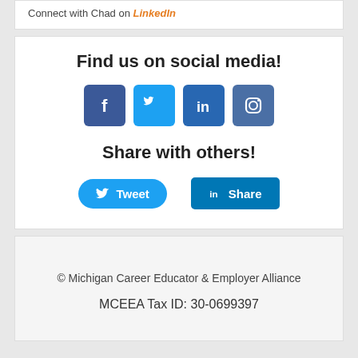Connect with Chad on LinkedIn
Find us on social media!
[Figure (infographic): Four social media icons: Facebook (blue square), Twitter (light blue square), LinkedIn (dark blue square), Instagram (dark blue square)]
Share with others!
[Figure (infographic): Two share buttons: a blue rounded Tweet button with Twitter bird icon, and a blue square Share button with LinkedIn icon]
© Michigan Career Educator & Employer Alliance
MCEEA Tax ID: 30-0699397